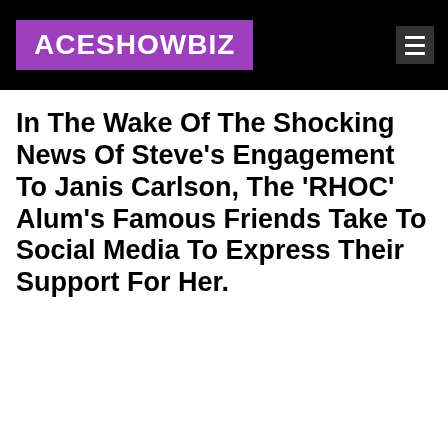ACESHOWBIZ
In The Wake Of The Shocking News Of Steve's Engagement To Janis Carlson, The 'RHOC' Alum's Famous Friends Take To Social Media To Express Their Support For Her.